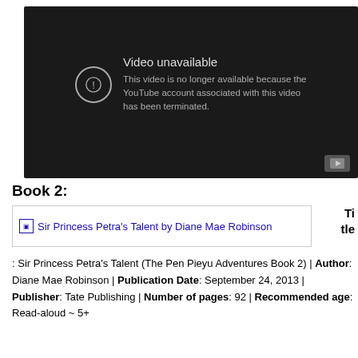[Figure (screenshot): YouTube video unavailable screen with dark background. Shows exclamation icon in circle, text 'Video unavailable' and 'This video is no longer available because the YouTube account associated with this video has been terminated.' YouTube play button icon in bottom right corner.]
Book 2:
[Figure (screenshot): Broken image placeholder link: Sir Princess Petra's Talent by Diane Mae Robinson]
Title: Sir Princess Petra's Talent (The Pen Pieyu Adventures Book 2) | Author: Diane Mae Robinson | Publication Date: September 24, 2013 | Publisher: Tate Publishing | Number of pages: 92 | Recommended age: Read-aloud ~ 5+